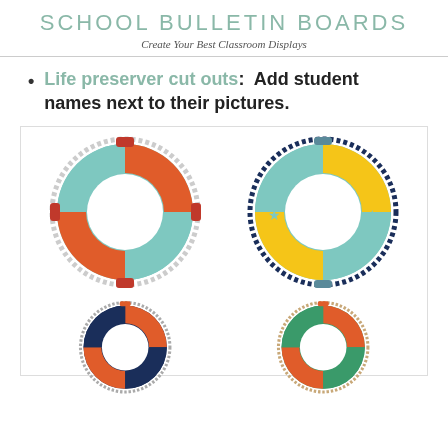SCHOOL BULLETIN BOARDS
Create Your Best Classroom Displays
Life preserver cut outs: Add student names next to their pictures.
[Figure (illustration): Four colorful life preserver / life ring cut-out illustrations arranged in a 2x2 grid inside a bordered box. Top-left: red/orange and teal ring with rope border. Top-right: yellow and teal ring with dark navy rope border and star accents. Bottom-left: navy blue and orange ring with gray rope, partially cropped. Bottom-right: green and orange ring with tan/rope border, partially cropped.]